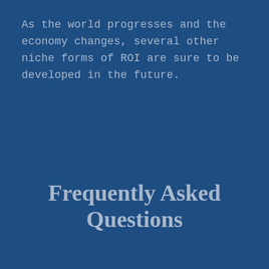As the world progresses and the economy changes, several other niche forms of ROI are sure to be developed in the future.
Frequently Asked Questions
Privacy & Cookies: This site uses cookies. By continuing to use this website, you agree to their use. To find out more, including how to control cookies, see here: Cookie Policy
Close and accept